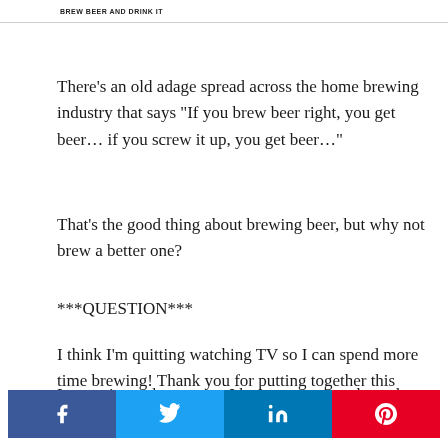BREW BEER AND DRINK IT
There’s an old adage spread across the home brewing industry that says “If you brew beer right, you get beer… if you screw it up, you get beer…”
That’s the good thing about brewing beer, but why not brew a better one?
***QUESTION***
I think I’m quitting watching TV so I can spend more time brewing! Thank you for putting together this blog, it has been extremely helpful.
I am going to b…t I have a question about the recipe. The recipe is a generic
[Figure (infographic): Social share bar with Facebook (blue), Twitter (light blue), LinkedIn (dark blue), and Pinterest (red) icons]